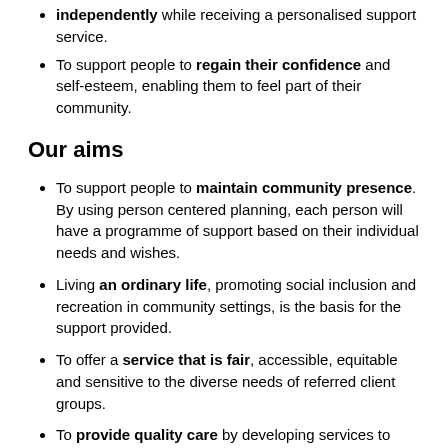independently while receiving a personalised support service.
To support people to regain their confidence and self-esteem, enabling them to feel part of their community.
Our aims
To support people to maintain community presence. By using person centered planning, each person will have a programme of support based on their individual needs and wishes.
Living an ordinary life, promoting social inclusion and recreation in community settings, is the basis for the support provided.
To offer a service that is fair, accessible, equitable and sensitive to the diverse needs of referred client groups.
To provide quality care by developing services to meet individual needs, with a multi-disciplinary approach.